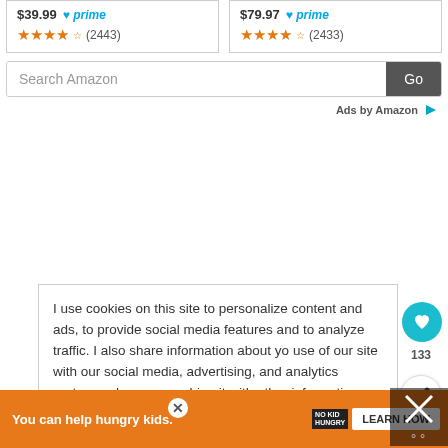[Figure (screenshot): Two Amazon product listing boxes showing prices $39.99 and $79.97 with Prime logos and star ratings (2443 and 2433 reviews respectively)]
[Figure (screenshot): Amazon search bar with 'Search Amazon' placeholder and 'Go' button]
Ads by Amazon
I use cookies on this site to personalize content and ads, to provide social media features and to analyze traffic. I also share information about your use of our site with our social media, advertising, and analytics partners who may combine it with other information that you've provided to the that they've collected from your use of their services. Privacy & Cookie Policy
[Figure (screenshot): Orange ad banner: 'You can help hungry kids.' No Kid Hungry logo and 'LEARN HOW' button]